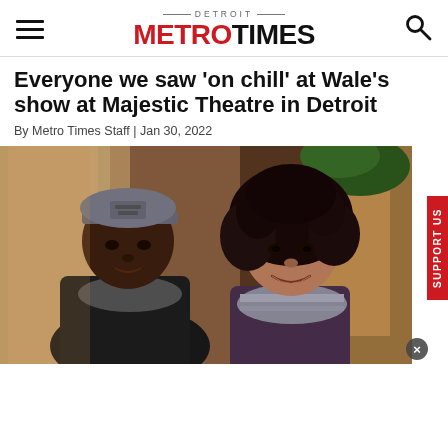DETROIT METRO TIMES
Everyone we saw 'on chill' at Wale's show at Majestic Theatre in Detroit
By Metro Times Staff | Jan 30, 2022
[Figure (photo): Two concert attendees posing together inside the Majestic Theatre in Detroit — a man wearing a flat-brim cap and scarf on the left, a woman with curly dark hair and a striped scarf on the right, smiling at the camera.]